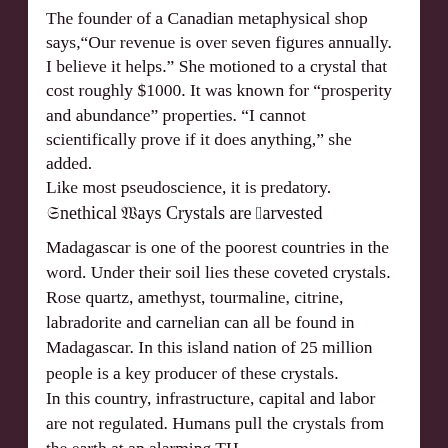The founder of a Canadian metaphysical shop says, "Our revenue is over seven figures annually. I believe it helps." She motioned to a crystal that cost roughly $1000. It was known for "prosperity and abundance" properties. "I cannot scientifically prove if it does anything," she added.
Like most pseudoscience, it is predatory.
Unethical Ways Crystals are Harvested
Madagascar is one of the poorest countries in the word. Under their soil lies these coveted crystals. Rose quartz, amethyst, tourmaline, citrine, labradorite and carnelian can all be found in Madagascar. In this island nation of 25 million people is a key producer of these crystals.
In this country, infrastructure, capital and labor are not regulated. Humans pull the crystals from the earth at an alarming TH…